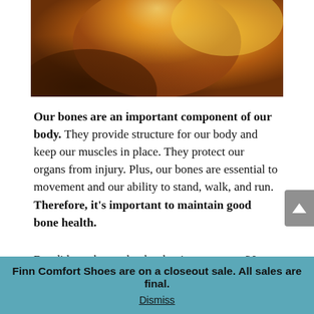[Figure (photo): Partial photo of a woman with golden/orange-tinted hair in sunlight, warm golden-hour outdoor scene]
Our bones are an important component of our body. They provide structure for our body and keep our muscles in place. They protect our organs from injury. Plus, our bones are essential to movement and our ability to stand, walk, and run. Therefore, it's important to maintain good bone health.
But did you know that by the time you turn 30, your bone mass has peaked? After that, you start to lose a little more bone mass than you gain. Your bone mass is what determines whether you'll develop osteoporosis. If you've reached a higher bone mass by
Finn Comfort Shoes are on a closeout sale. All sales are final.
Dismiss